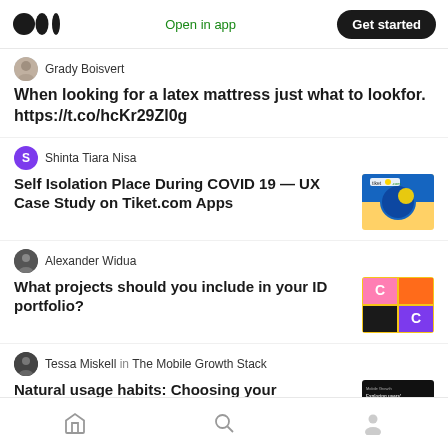Medium logo | Open in app | Get started
Grady Boisvert
When looking for a latex mattress just what to lookfor. https://t.co/hcKr29Zl0g
Shinta Tiara Nisa
Self Isolation Place During COVID 19 — UX Case Study on Tiket.com Apps
Alexander Widua
What projects should you include in your ID portfolio?
Tessa Miskell in The Mobile Growth Stack
Natural usage habits: Choosing your
Home | Search | Profile